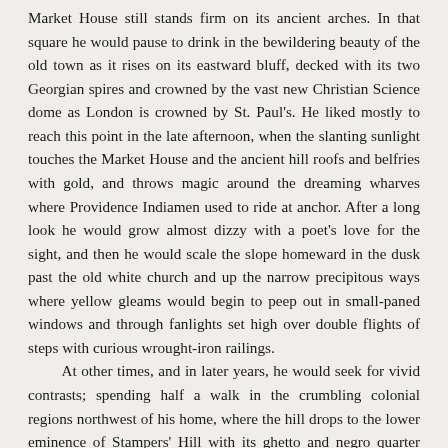Market House still stands firm on its ancient arches. In that square he would pause to drink in the bewildering beauty of the old town as it rises on its eastward bluff, decked with its two Georgian spires and crowned by the vast new Christian Science dome as London is crowned by St. Paul's. He liked mostly to reach this point in the late afternoon, when the slanting sunlight touches the Market House and the ancient hill roofs and belfries with gold, and throws magic around the dreaming wharves where Providence Indiamen used to ride at anchor. After a long look he would grow almost dizzy with a poet's love for the sight, and then he would scale the slope homeward in the dusk past the old white church and up the narrow precipitous ways where yellow gleams would begin to peep out in small-paned windows and through fanlights set high over double flights of steps with curious wrought-iron railings.
At other times, and in later years, he would seek for vivid contrasts; spending half a walk in the crumbling colonial regions northwest of his home, where the hill drops to the lower eminence of Stampers' Hill with its ghetto and negro quarter clustering round the place where the Boston stage coach used to start before the Revolution, and the other half in the gracious southerly realm about George, Benevolent, Power, and Williams Streets, where the old slope holds unchanged the fine estates and bits of walled garden and steep green lane in which so many fragrant memories linger. These